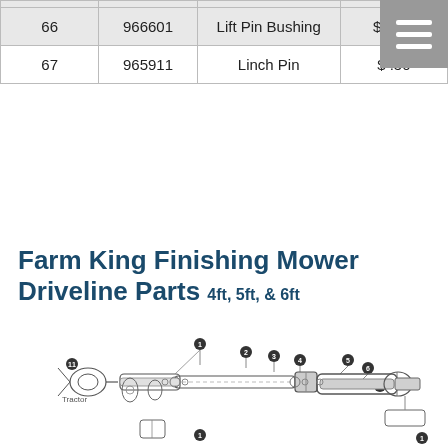|  |  |  |  |
| --- | --- | --- | --- |
| 66 | 966601 | Lift Pin Bushing | $ 5.92 |
| 67 | 965911 | Linch Pin | $ .50 |
Farm King Finishing Mower Driveline Parts 4ft, 5ft, & 6ft
[Figure (engineering-diagram): Exploded engineering diagram of Farm King Finishing Mower Driveline parts showing numbered components including universal joints, shaft sections, bearings, and connectors labeled 1 through 11, with Tractor label on left side.]